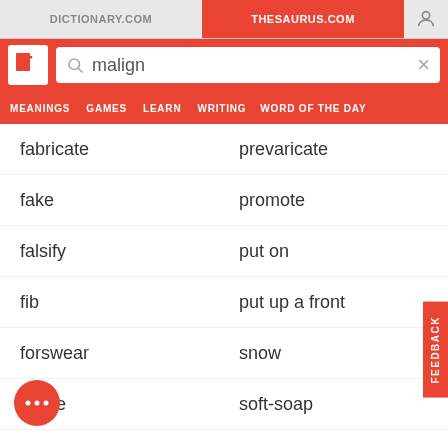DICTIONARY.COM | THESAURUS.COM
malign
MEANINGS | GAMES | LEARN | WRITING | WORD OF THE DAY
fabricate
prevaricate
fake
promote
falsify
put on
fib
put up a front
forswear
snow
frame
soft-soap
fudge
string along
o back on
victimize